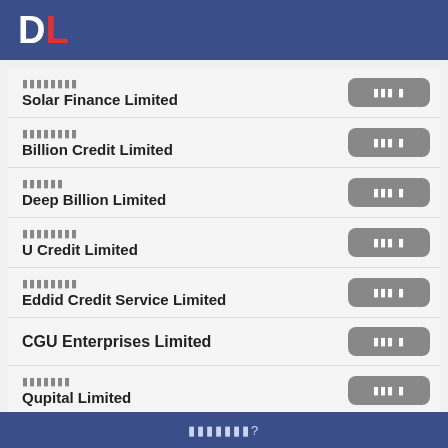DL
Solar Finance Limited
Billion Credit Limited
Deep Billion Limited
U Credit Limited
Eddid Credit Service Limited
CGU Enterprises Limited
Qupital Limited
?